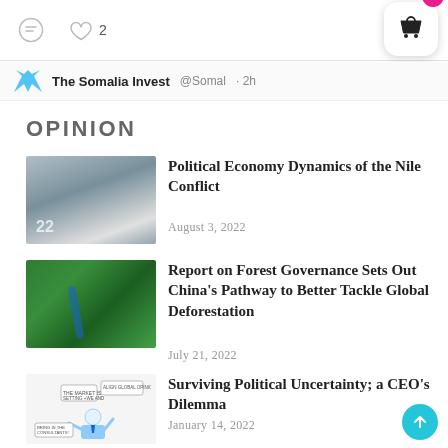[Figure (screenshot): Social media post action bar showing comment icon and heart icon with count '2']
[Figure (screenshot): Twitter/social preview bar showing 'The Somalia Invest' account handle '@Somal' and '2h' timestamp]
OPINION
[Figure (photo): Photo of a dam structure with graffiti number 22]
Political Economy Dynamics of the Nile Conflict
August 3, 2022
[Figure (photo): Aerial photo of dense forest with a river/stream running through it]
Report on Forest Governance Sets Out China's Pathway to Better Tackle Global Deforestation
July 21, 2022
[Figure (illustration): Cartoon illustration of a businessman/CEO with speech bubbles]
Surviving Political Uncertainty; a CEO's Dilemma
January 14, 2022